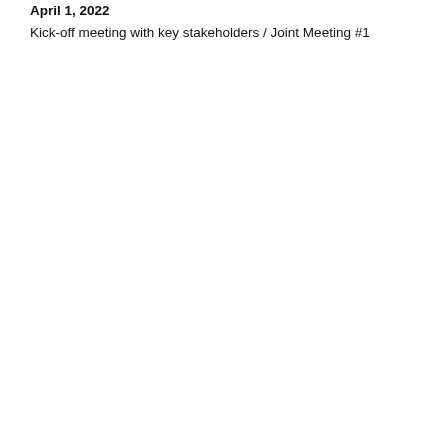April 1, 2022
Kick-off meeting with key stakeholders / Joint Meeting #1